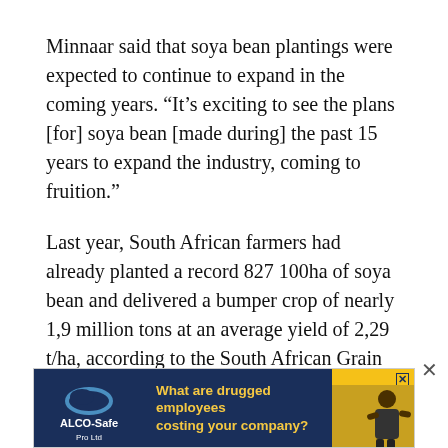Minnaar said that soya bean plantings were expected to continue to expand in the coming years. “It’s exciting to see the plans [for] soya bean [made during] the past 15 years to expand the industry, coming to fruition.”
Last year, South African farmers had already planted a record 827 100ha of soya bean and delivered a bumper crop of nearly 1,9 million tons at an average yield of 2,29 t/ha, according to the South African Grain Information Service.
Since 2014, the country had also been expanding its soya bean crushing capacity, Sihlobo added.
[Figure (other): Advertisement banner for ALCO-Safe Pro Ltd asking 'What are drugged employees costing your company?' with company logo on dark blue background and yellow accent with photo of person.]